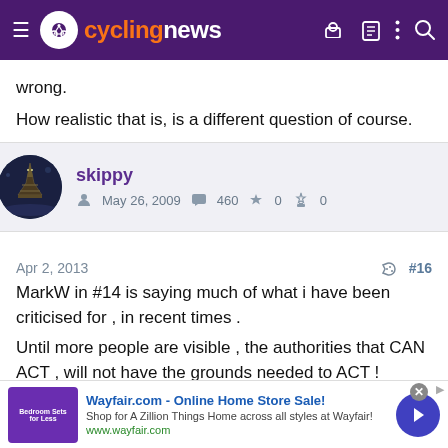cyclingnews
wrong.
How realistic that is, is a different question of course.
skippy
May 26, 2009  460  0  0
Apr 2, 2013  #16
MarkW in #14 is saying much of what i have been criticised for , in recent times .
Until more people are visible , the authorities that CAN ACT , will not have the grounds needed to ACT !
[Figure (screenshot): Wayfair.com advertisement banner: Online Home Store Sale! Shop for A Zillion Things Home across all styles at Wayfair! www.wayfair.com]